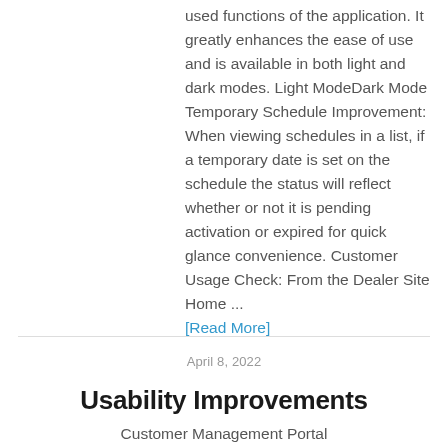used functions of the application. It greatly enhances the ease of use and is available in both light and dark modes. Light ModeDark Mode Temporary Schedule Improvement: When viewing schedules in a list, if a temporary date is set on the schedule the status will reflect whether or not it is pending activation or expired for quick glance convenience. Customer Usage Check: From the Dealer Site Home ... [Read More]
April 8, 2022
Usability Improvements
Customer Management Portal